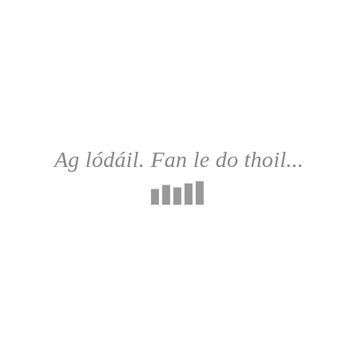Ag lódáil. Fan le do thoil...
[Figure (other): Loading indicator with five vertical bars of varying heights in gray]